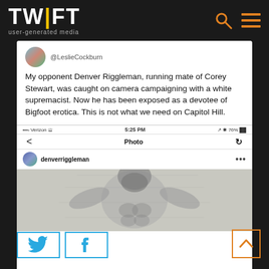[Figure (logo): TWIFT logo with yellow dot on letter I, subtitle 'user-generated media']
[Figure (screenshot): Screenshot of a tweet by @LeslieCockburn about Denver Riggleman, with embedded Instagram photo of a Bigfoot drawing by denverriggleman]
@LeslieCockburn
My opponent Denver Riggleman, running mate of Corey Stewart, was caught on camera campaigning with a white supremacist. Now he has been exposed as a devotee of Bigfoot erotica. This is not what we need on Capitol Hill.
Verizon  5:25 PM  76%
Photo
denverriggleman
[Figure (illustration): Pencil sketch/drawing of Bigfoot figure with arms raised]